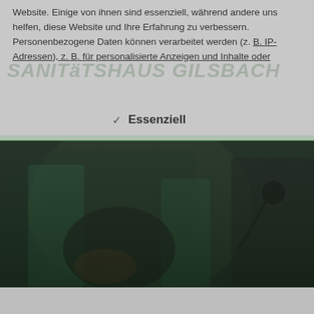Website. Einige von ihnen sind essenziell, während andere uns helfen, diese Website und Ihre Erfahrung zu verbessern. Personenbezogene Daten können verarbeitet werden (z. B. IP-Adressen), z. B. für personalisierte Anzeigen und Inhalte oder...
✓ Essenziell
[Figure (photo): Dark-toned photo of a pregnant woman in a teal cardigan with a doctor using a stethoscope, partially obscured by an overlay panel. Green horizontal bar separates the overlay from the photo.]